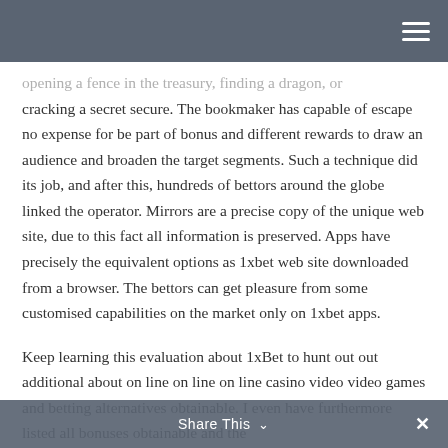[hamburger menu icon]
opening a fence in the treasury, finding a dragon, or cracking a secret secure. The bookmaker has capable of escape no expense for be part of bonus and different rewards to draw an audience and broaden the target segments. Such a technique did its job, and after this, hundreds of bettors around the globe linked the operator. Mirrors are a precise copy of the unique web site, due to this fact all information is preserved. Apps have precisely the equivalent options as 1xbet web site downloaded from a browser. The bettors can get pleasure from some customised capabilities on the market only on 1xbet apps.
Keep learning this evaluation about 1xBet to hunt out out additional about on line on line on line casino video video games and betting alternatives obtainable. I even have furthermore listed all bonuses obtainable and the
Share This ✓  ✕